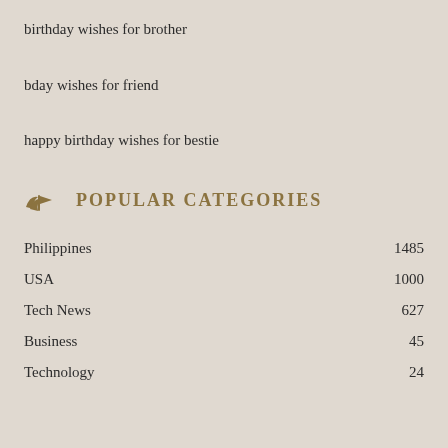birthday wishes for brother
bday wishes for friend
happy birthday wishes for bestie
POPULAR CATEGORIES
| Category | Count |
| --- | --- |
| Philippines | 1485 |
| USA | 1000 |
| Tech News | 627 |
| Business | 45 |
| Technology | 24 |